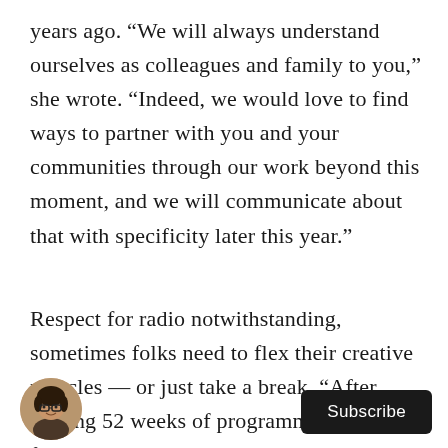years ago. “We will always understand ourselves as colleagues and family to you,” she wrote. “Indeed, we would love to find ways to partner with you and your communities through our work beyond this moment, and we will communicate about that with specificity later this year.”
Respect for radio notwithstanding, sometimes folks need to flex their creative muscles — or just take a break. “After hosting 52 weeks of programming a year for close to 20 years, I’m ready to move to a more sustainable rhythm and to open space and time for writing, public engagement, and new extensions
[Figure (photo): Circular avatar photo of a person with glasses]
Subscribe